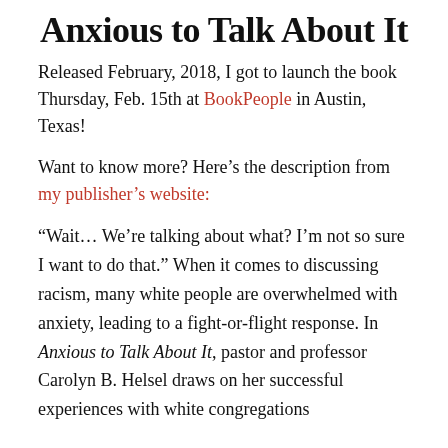Anxious to Talk About It
Released February, 2018, I got to launch the book Thursday, Feb. 15th at BookPeople in Austin, Texas!
Want to know more? Here's the description from my publisher's website:
“Wait… We’re talking about what? I’m not so sure I want to do that.” When it comes to discussing racism, many white people are overwhelmed with anxiety, leading to a fight-or-flight response. In Anxious to Talk About It, pastor and professor Carolyn B. Helsel draws on her successful experiences with white congregations